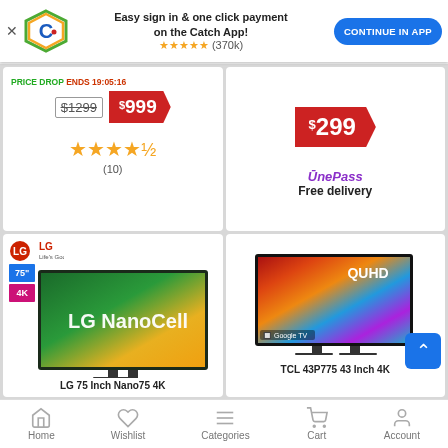[Figure (screenshot): Catch.com.au mobile app banner with logo, text 'Easy sign in & one click payment on the Catch App!', star rating (370k), and 'CONTINUE IN APP' button]
PRICE DROP ENDS 19:05:16
$1299  $999
★★★★½ (10)
$299
OnePass Free delivery
[Figure (photo): LG 75 inch NanoCell 4K TV product image with LG logo, 75" and 4K badges]
LG 75 Inch Nano75 4K
[Figure (photo): TCL 43P775 43 Inch 4K QUHD Google TV product image]
TCL 43P775 43 Inch 4K
Home  Wishlist  Categories  Cart  Account